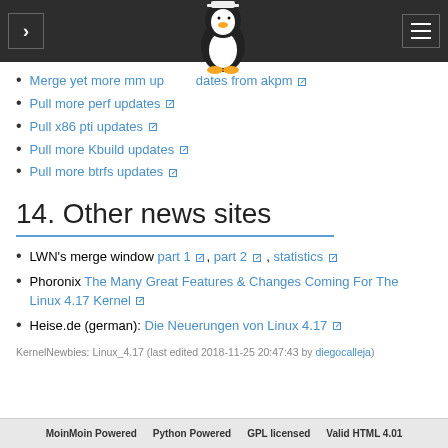Navigation bar with penguin logo
Merge yet more mm updates from akpm
Pull more perf updates
Pull x86 pti updates
Pull more Kbuild updates
Pull more btrfs updates
14. Other news sites
LWN's merge window part 1, part 2, statistics
Phoronix The Many Great Features & Changes Coming For The Linux 4.17 Kernel
Heise.de (german): Die Neuerungen von Linux 4.17
KernelNewbies: Linux_4.17 (last edited 2018-11-25 20:47:43 by diegocalleja)
MoinMoin Powered   Python Powered   GPL licensed   Valid HTML 4.01